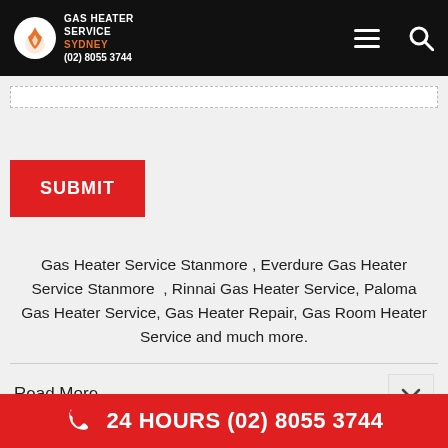GAS HEATER SERVICE SYDNEY (02) 8055 3744
[Figure (screenshot): Submit button form area with dashed input box]
Gas Heater Service Stanmore , Everdure Gas Heater Service Stanmore , Rinnai Gas Heater Service, Paloma Gas Heater Service, Gas Heater Repair, Gas Room Heater Service and much more.
Read More
24 HOURS (02) 8055 3744